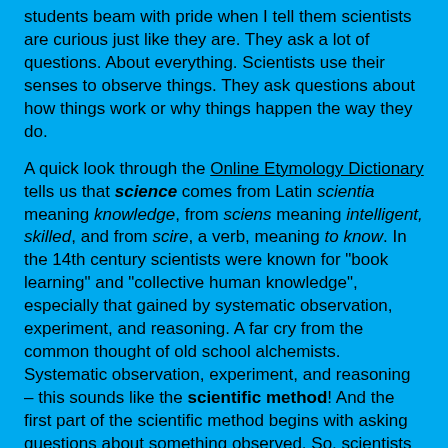students beam with pride when I tell them scientists are curious just like they are. They ask a lot of questions. About everything. Scientists use their senses to observe things. They ask questions about how things work or why things happen the way they do.
A quick look through the Online Etymology Dictionary tells us that science comes from Latin scientia meaning knowledge, from sciens meaning intelligent, skilled, and from scire, a verb, meaning to know. In the 14th century scientists were known for "book learning" and "collective human knowledge", especially that gained by systematic observation, experiment, and reasoning. A far cry from the common thought of old school alchemists. Systematic observation, experiment, and reasoning – this sounds like the scientific method! And the first part of the scientific method begins with asking questions about something observed. So, scientists are curious. After all, curiosity is defined as a strong desire to know or learn something.
We read a poem about what science is, and then pulled out the